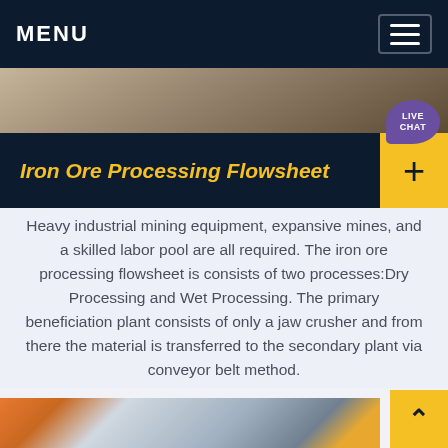MENU
[Figure (photo): Industrial mining conveyor belt or machinery, partial view at top of page]
Iron Ore Processing Flowsheet
Heavy industrial mining equipment, expansive mines, and a skilled labor pool are all required. The iron ore processing flowsheet is consists of two processes:Dry Processing and Wet Processing. The primary beneficiation plant consists of only a jaw crusher and from there the material is transferred to the secondary plant via conveyor belt method.
[Figure (photo): Industrial facility interior showing overhead cranes and structural steel, bottom of page]